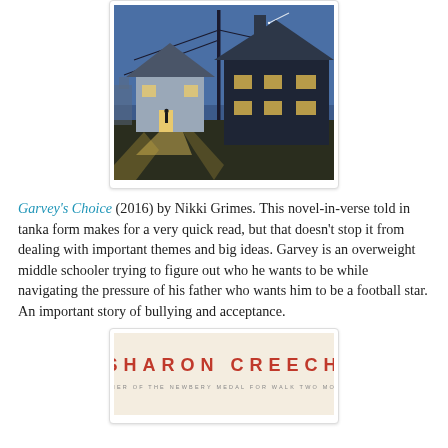[Figure (illustration): Book cover illustration showing two houses at night with warm glowing windows, a utility pole, and a figure standing in a lit doorway casting light on a path.]
Garvey's Choice (2016) by Nikki Grimes. This novel-in-verse told in tanka form makes for a very quick read, but that doesn't stop it from dealing with important themes and big ideas. Garvey is an overweight middle schooler trying to figure out who he wants to be while navigating the pressure of his father who wants him to be a football star. An important story of bullying and acceptance.
[Figure (illustration): Partial view of a book cover for Sharon Creech, winner of the Newbery Medal for Walk Two Moons, with author name in red and subtitle in small text on a cream/beige background.]